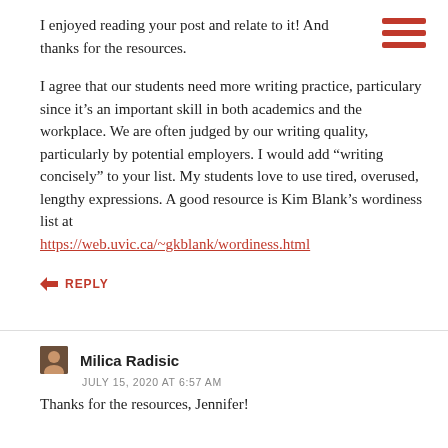I enjoyed reading your post and relate to it! And thanks for the resources.
I agree that our students need more writing practice, particulary since it's an important skill in both academics and the workplace. We are often judged by our writing quality, particularly by potential employers. I would add “writing concisely” to your list. My students love to use tired, overused, lengthy expressions. A good resource is Kim Blank’s wordiness list at https://web.uvic.ca/~gkblank/wordiness.html
REPLY
Milica Radisic
JULY 15, 2020 AT 6:57 AM
Thanks for the resources, Jennifer!